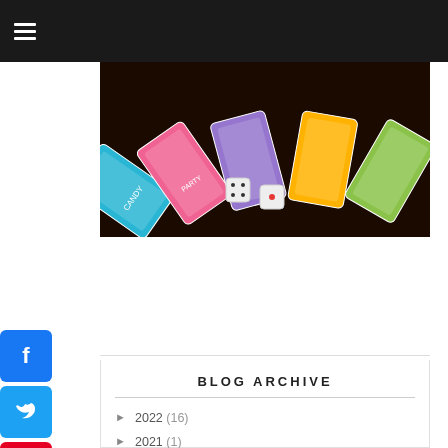☰ (navigation menu)
[Figure (photo): Colorful board game cards arranged in a fan arc on a dark table with two white dice in the center]
[Figure (illustration): Social media share icons: Facebook (blue), Twitter (light blue), Pinterest (red), Share/Add (blue+)]
BLOG ARCHIVE
► 2022 (16)
► 2021 (1)
► 2020 (5)
► 2019 (1)
► 2018 (7)
► 2017 (19)